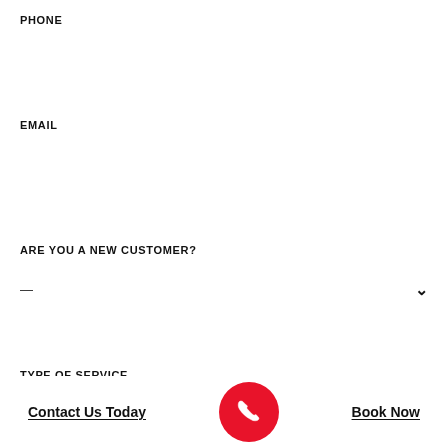PHONE
EMAIL
ARE YOU A NEW CUSTOMER?
TYPE OF SERVICE
Contact Us Today
[Figure (illustration): Red circle with white phone handset icon]
Book Now